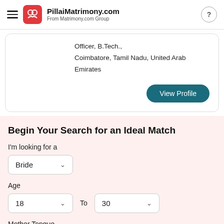PillaiMatrimony.com — From Matrimony.com Group
Officer, B.Tech.,
Coimbatore, Tamil Nadu, United Arab Emirates
View Profile
Begin Your Search for an Ideal Match
I'm looking for a
Bride
Age
18  To  30
Mother Tongue